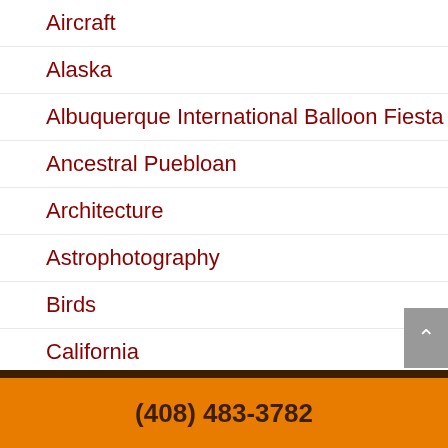Aircraft
Alaska
Albuquerque International Balloon Fiesta
Ancestral Puebloan
Architecture
Astrophotography
Birds
California
Canada
Canon
(408) 483-3782